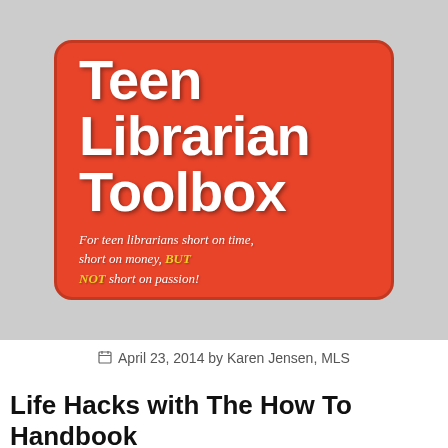[Figure (logo): Teen Librarian Toolbox logo on a gray background. Orange rounded rectangle with bold white text 'Teen Librarian Toolbox' and italic subtitle 'For teen librarians short on time, short on money, BUT NOT short on passion!']
April 23, 2014 by Karen Jensen, MLS
Life Hacks with The How To Handbook